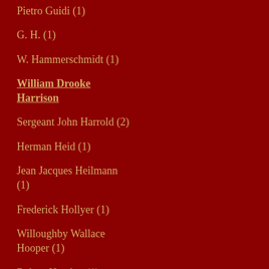Pietro Guidi (1)
G. H. (1)
W. Hammerschmidt (1)
William Drooke Harrison
Sergeant John Harrold (2)
Herman Heid (1)
Jean Jacques Heilmann (1)
Frederick Hollyer (1)
Willoughby Wallace Hooper (1)
Robert Howlett (1)
Louis Jean Baptiste Igout (1)